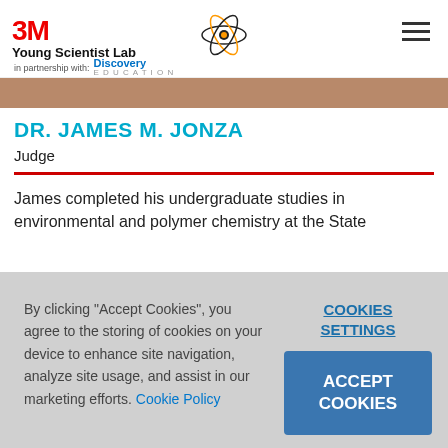[Figure (logo): 3M Young Scientist Lab logo with atom icon and Discovery Education partnership]
DR. JAMES M. JONZA
Judge
James completed his undergraduate studies in environmental and polymer chemistry at the State
By clicking "Accept Cookies", you agree to the storing of cookies on your device to enhance site navigation, analyze site usage, and assist in our marketing efforts. Cookie Policy
COOKIES SETTINGS
ACCEPT COOKIES